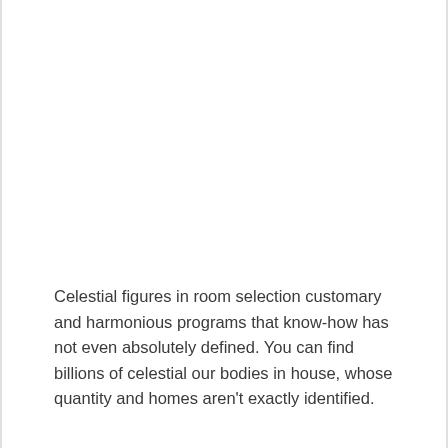Celestial figures in room selection customary and harmonious programs that know-how has not even absolutely defined. You can find billions of celestial our bodies in house, whose quantity and homes aren't exactly identified.